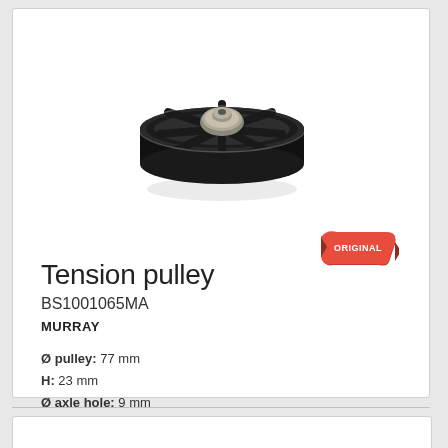[Figure (photo): Black tension pulley with metal center hub bearing, viewed from slight angle above, showing spoked wheel design]
[Figure (logo): Red ribbon badge with text ORIGINAL in white]
Tension pulley
BS1001065MA
MURRAY
Ø pulley: 77 mm
H: 23 mm
Ø axle hole: 9 mm
More info